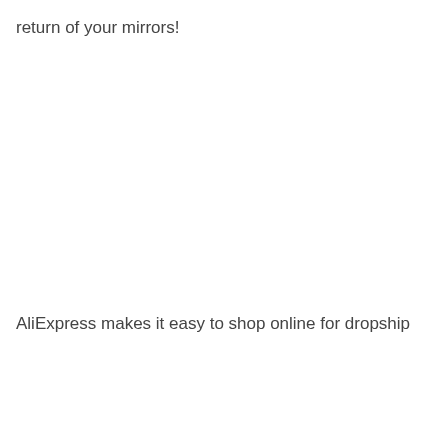return of your mirrors!
AliExpress makes it easy to shop online for dropship